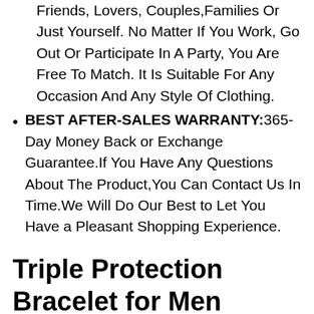Friends, Lovers, Couples,Families Or Just Yourself. No Matter If You Work, Go Out Or Participate In A Party, You Are Free To Match. It Is Suitable For Any Occasion And Any Style Of Clothing.
BEST AFTER-SALES WARRANTY:365-Day Money Back or Exchange Guarantee.If You Have Any Questions About The Product,You Can Contact Us In Time.We Will Do Our Best to Let You Have a Pleasant Shopping Experience.
Triple Protection Bracelet for Men Women, Genuine Premium Tiger Eye Black Onyx and Lava Rock 8mm Handmade Bead Bracelet Healing Crystal Protection